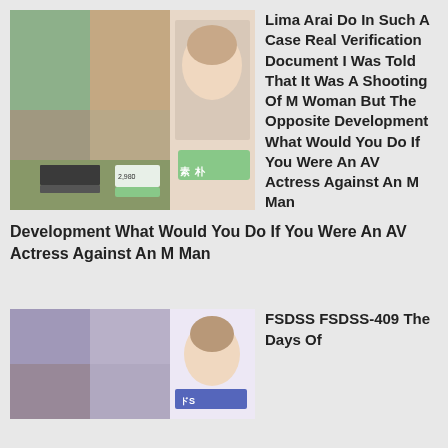[Figure (photo): DVD cover image with Japanese text and product details]
Lima Arai Do In Such A Case Real Verification Document I Was Told That It Was A Shooting Of M Woman But The Opposite Development What Would You Do If You Were An AV Actress Against An M Man
[Figure (photo): Second DVD cover image with Japanese text]
FSDSS FSDSS-409 The Days Of